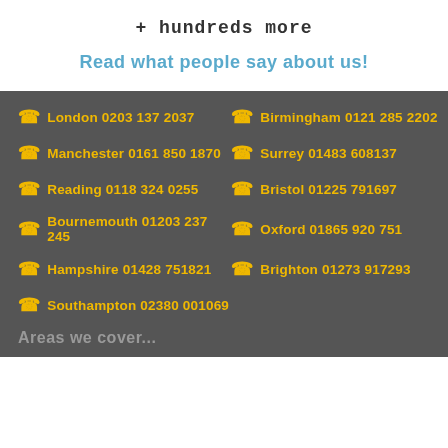+ hundreds more
Read what people say about us!
☎ London 0203 137 2037
☎ Birmingham 0121 285 2202
☎ Manchester 0161 850 1870
☎ Surrey 01483 608137
☎ Reading 0118 324 0255
☎ Bristol 01225 791697
☎ Bournemouth 01203 237 245
☎ Oxford 01865 920 751
☎ Hampshire 01428 751821
☎ Brighton 01273 917293
☎ Southampton 02380 001069
Areas we cover...